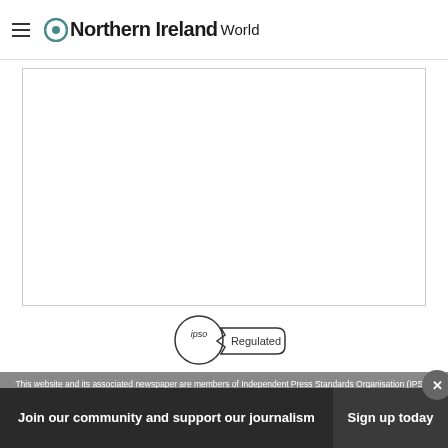Northern Ireland World
[Figure (other): White content area / advertisement placeholder box]
[Figure (logo): IPSO Regulated badge — circular logo with text 'ipso' and banner reading 'Regulated']
This website and its associated newspaper are members of Independent Press Standards Organisation (IPSO)
Join our community and support our journalism
Sign up today